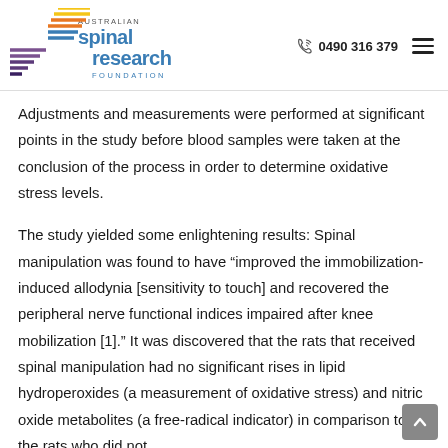Australian Spinal Research Foundation | 0490 316 379
Adjustments and measurements were performed at significant points in the study before blood samples were taken at the conclusion of the process in order to determine oxidative stress levels.
The study yielded some enlightening results: Spinal manipulation was found to have “improved the immobilization-induced allodynia [sensitivity to touch] and recovered the peripheral nerve functional indices impaired after knee mobilization [1].” It was discovered that the rats that received spinal manipulation had no significant rises in lipid hydroperoxides (a measurement of oxidative stress) and nitric oxide metabolites (a free-radical indicator) in comparison to the rats who did not.